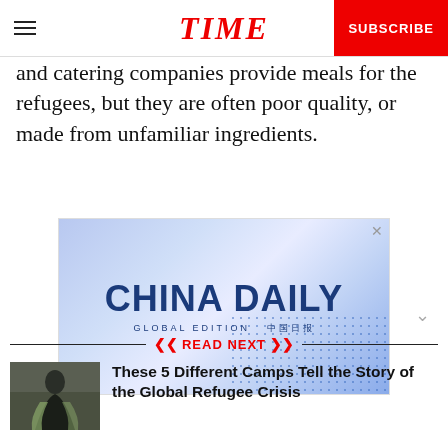TIME | SUBSCRIBE
and catering companies provide meals for the refugees, but they are often poor quality, or made from unfamiliar ingredients.
[Figure (other): China Daily advertisement banner — blue gradient background with dot pattern, showing 'CHINA DAILY' in large bold dark blue text with 'GLOBAL EDITION' subtitle in Chinese and English.]
READ NEXT
[Figure (photo): A person wearing a dark cloak/robe wrapped in a light green blanket, standing outdoors — thumbnail image for a related article about refugee camps.]
These 5 Different Camps Tell the Story of the Global Refugee Crisis